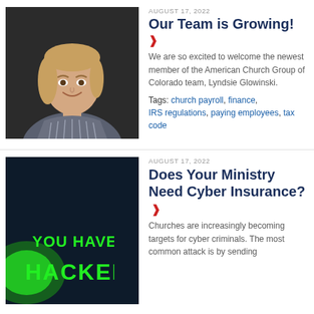[Figure (photo): Professional headshot of a young blonde woman smiling, wearing a striped blouse, against a dark background]
AUGUST 17, 2022
Our Team is Growing!
We are so excited to welcome the newest member of the American Church Group of Colorado team, Lyndsie Glowinski.
Tags: church payroll, finance, IRS regulations, paying employees, tax code
[Figure (photo): Dark background with bright green text reading YOU HAVE BEEN HACKED, cyber security threat image]
AUGUST 17, 2022
Does Your Ministry Need Cyber Insurance?
Churches are increasingly becoming targets for cyber criminals. The most common attack is by sending